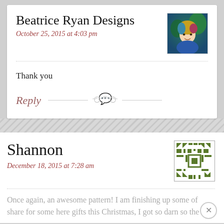Beatrice Ryan Designs
October 25, 2015 at 4:03 pm
[Figure (photo): Avatar photo of Beatrice Ryan Designs - woman with colorful hair and blue garment]
Thank you
Reply
Shannon
December 18, 2015 at 7:28 am
[Figure (other): Green geometric pixel/QR-style avatar for Shannon]
Once again, an awesome pattern! I am finishing up some of share for some here gifts this Christmas, I got so darn so the